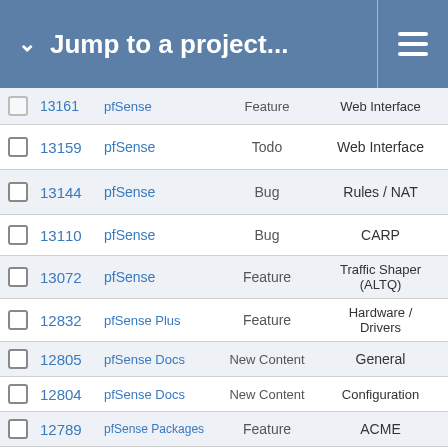Jump to a project...
|  | # | Project | Type | Category |
| --- | --- | --- | --- | --- |
|  | 13161 | pfSense | Feature | Web Interface |
|  | 13159 | pfSense | Todo | Web Interface |
|  | 13144 | pfSense | Bug | Rules / NAT |
|  | 13110 | pfSense | Bug | CARP |
|  | 13072 | pfSense | Feature | Traffic Shaper (ALTQ) |
|  | 12832 | pfSense Plus | Feature | Hardware / Drivers |
|  | 12805 | pfSense Docs | New Content | General |
|  | 12804 | pfSense Docs | New Content | Configuration |
|  | 12789 | pfSense Packages | Feature | ACME |
|  | 12759 | pfSense Plus | Bug | Package System |
|  | 12757 | pfSense | Bug | Diagnostics |